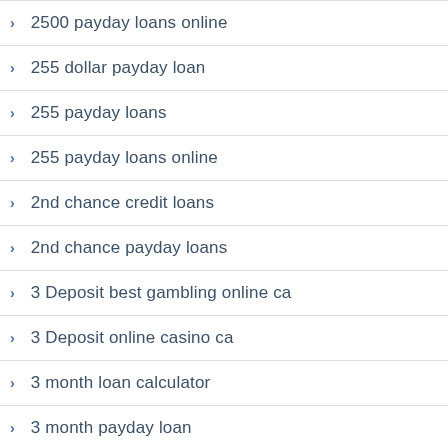2500 payday loans online
255 dollar payday loan
255 payday loans
255 payday loans online
2nd chance credit loans
2nd chance payday loans
3 Deposit best gambling online ca
3 Deposit online casino ca
3 month loan calculator
3 month payday loan